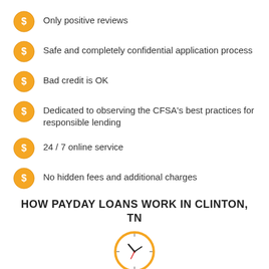Only positive reviews
Safe and completely confidential application process
Bad credit is OK
Dedicated to observing the CFSA's best practices for responsible lending
24 / 7 online service
No hidden fees and additional charges
HOW PAYDAY LOANS WORK IN CLINTON, TN
[Figure (illustration): Orange clock icon for Step 1]
Step 1
Fill out our fast, easy and safe payday loan application